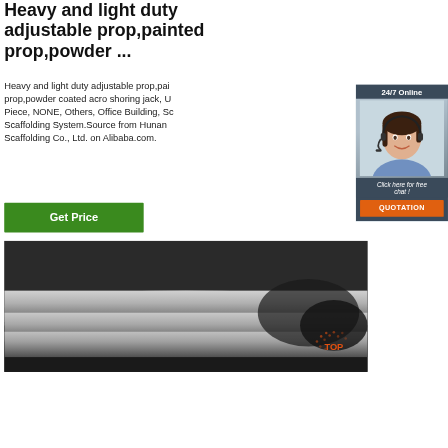Heavy and light duty adjustable prop,painted prop,powder ...
Heavy and light duty adjustable prop,painted prop,powder coated acro shoring jack, Unit: Piece, NONE, Others, Office Building, Scaffolding System.Source from Hunan Scaffolding Co., Ltd. on Alibaba.com.
[Figure (photo): Customer service representative wearing headset, with '24/7 Online' header, 'Click here for free chat!' text, and orange QUOTATION button]
[Figure (photo): Metal scaffolding props/adjustable steel tubes laid flat on ground]